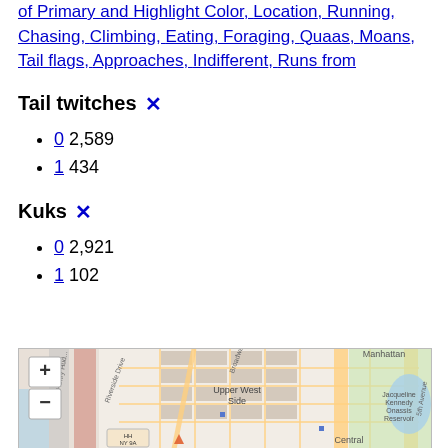of Primary and Highlight Color, Location, Running, Chasing, Climbing, Eating, Foraging, Quaas, Moans, Tail flags, Approaches, Indifferent, Runs from
Tail twitches ✕
0 2,589
1 434
Kuks ✕
0 2,921
1 102
[Figure (map): Interactive map showing Upper West Side of Manhattan, New York City, with street grid, Jacqueline Kennedy Onassis Reservoir, Central Park, and zoom controls. An HH NY 9A label appears at bottom left.]